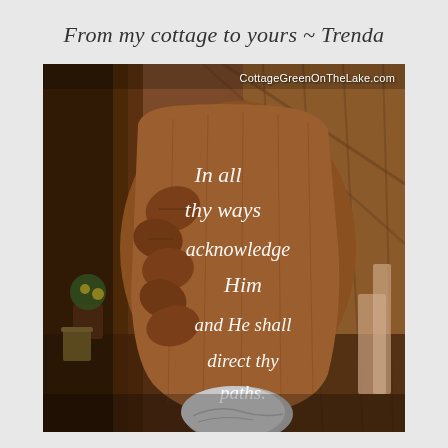From my cottage to yours ~ Trenda
[Figure (photo): A wooden carved plaque with white painted script text reading 'In all thy ways acknowledge Him and He shall direct thy paths.' surrounded by carved leaf decorations, displayed in a cottage setting with various items in the background. A watermark reads 'CottageGreenOnTheLake.com' in the upper right corner.]